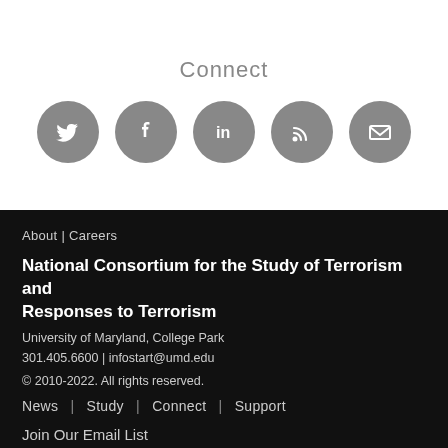Connect
[Figure (illustration): Five circular grey social media icons in a row: Twitter bird, Facebook f, LinkedIn in, RSS feed, and envelope/email icon]
About | Careers
National Consortium for the Study of Terrorism and Responses to Terrorism
University of Maryland, College Park
301.405.6600 | infostart@umd.edu
© 2010-2022. All rights reserved.
News  |  Study  |  Connect  |  Support
Join Our Email List
email address  Subscribe